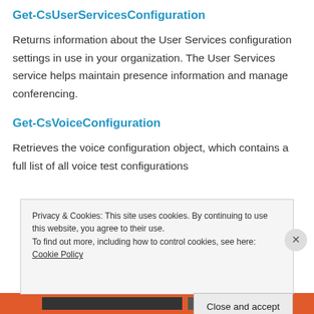Get-CsUserServicesConfiguration
Returns information about the User Services configuration settings in use in your organization. The User Services service helps maintain presence information and manage conferencing.
Get-CsVoiceConfiguration
Retrieves the voice configuration object, which contains a full list of all voice test configurations
Privacy & Cookies: This site uses cookies. By continuing to use this website, you agree to their use.
To find out more, including how to control cookies, see here: Cookie Policy
Close and accept